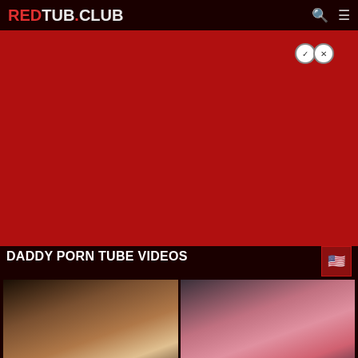REDTUB.CLUB
[Figure (screenshot): Red banner advertisement area with close/check buttons]
DADDY PORN TUBE VIDEOS
[Figure (screenshot): Video thumbnail: woman in white shirt talking on phone, indoor setting. Duration: 43:00. Title: One of my favourite!]
[Figure (screenshot): Video thumbnail: people under pink bedcovers. Duration: 24:00. Title: A Spring Fling With Daddy HD]
[Figure (screenshot): Video thumbnail: woman in white dress at doorway]
[Figure (screenshot): Video thumbnail: figures in blue/grey tones, watermark: www.incestvidz.com]